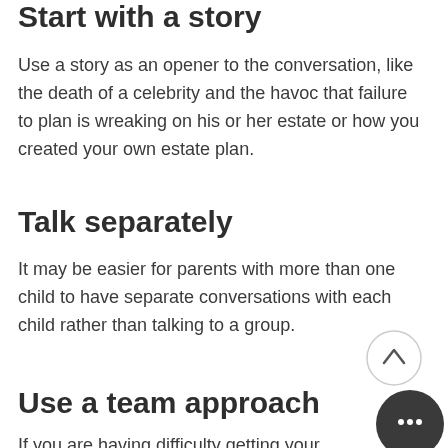Start with a story
Use a story as an opener to the conversation, like the death of a celebrity and the havoc that failure to plan is wreaking on his or her estate or how you created your own estate plan.
Talk separately
It may be easier for parents with more than one child to have separate conversations with each child rather than talking to a group.
Use a team approach
If you are having difficulty getting your